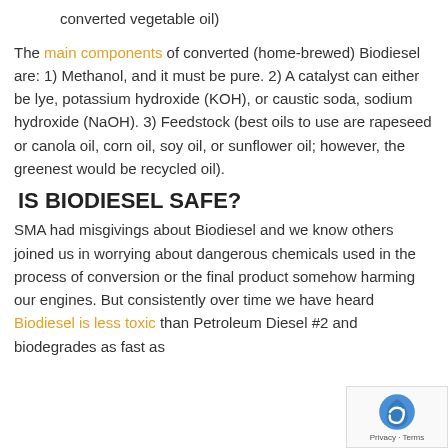converted vegetable oil)
The main components of converted (home-brewed) Biodiesel are: 1) Methanol, and it must be pure. 2) A catalyst can either be lye, potassium hydroxide (KOH), or caustic soda, sodium hydroxide (NaOH). 3) Feedstock (best oils to use are rapeseed or canola oil, corn oil, soy oil, or sunflower oil; however, the greenest would be recycled oil).
IS BIODIESEL SAFE?
SMA had misgivings about Biodiesel and we know others joined us in worrying about dangerous chemicals used in the process of conversion or the final product somehow harming our engines. But consistently over time we have heard Biodiesel is less toxic than Petroleum Diesel #2 and biodegrades as fast as